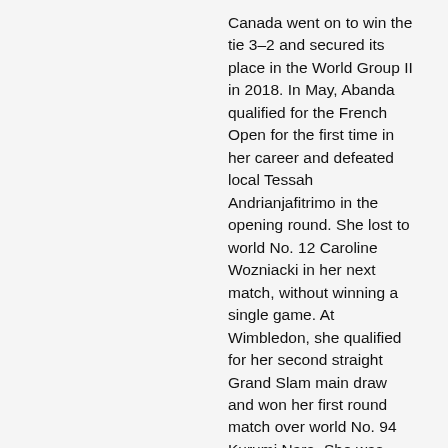Canada went on to win the tie 3–2 and secured its place in the World Group II in 2018. In May, Abanda qualified for the French Open for the first time in her career and defeated local Tessah Andrianjafitrimo in the opening round. She lost to world No. 12 Caroline Wozniacki in her next match, without winning a single game. At Wimbledon, she qualified for her second straight Grand Slam main draw and won her first round match over world No. 94 Kurumi Nara. She was defeated by reigning French Open champion and world No. 13 Jeļena Ostapenko in the second round in three sets. In August at the WTA Premier 5 Western & Southern Open, she qualified for the main draw with wins over world No. 79